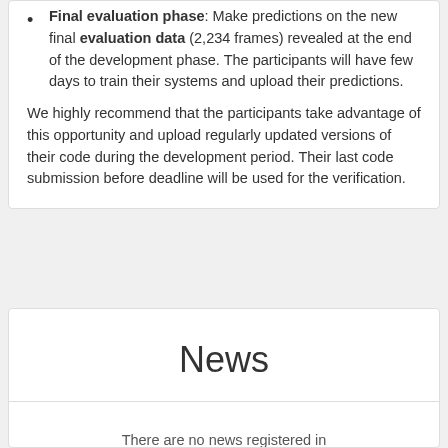Final evaluation phase: Make predictions on the new final evaluation data (2,234 frames) revealed at the end of the development phase. The participants will have few days to train their systems and upload their predictions.
We highly recommend that the participants take advantage of this opportunity and upload regularly updated versions of their code during the development period. Their last code submission before deadline will be used for the verification.
News
There are no news registered in